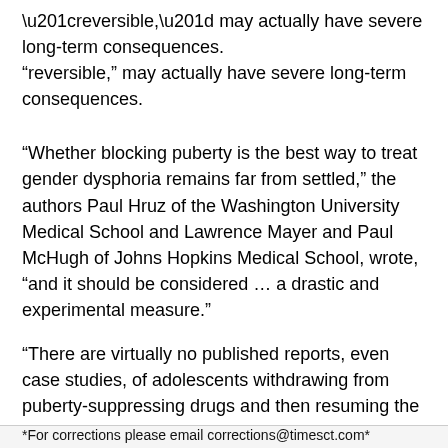“reversible,” may actually have severe long-term consequences.
“Whether blocking puberty is the best way to treat gender dysphoria remains far from settled,” the authors Paul Hruz of the Washington University Medical School and Lawrence Mayer and Paul McHugh of Johns Hopkins Medical School, wrote, “and it should be considered … a drastic and experimental measure.”
“There are virtually no published reports, even case studies, of adolescents withdrawing from puberty-suppressing drugs and then resuming the normal pubertal development typical for their sex,” the author’s added.
*For corrections please email corrections@timesct.com*